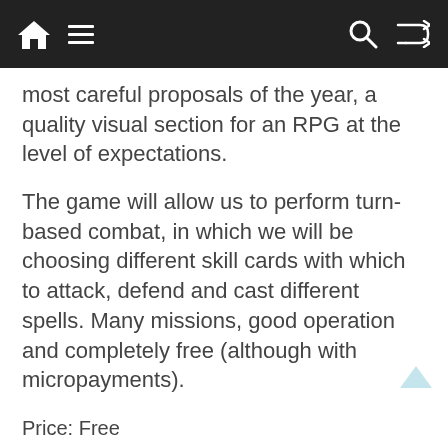most careful proposals of the year, a quality visual section for an RPG at the level of expectations.
The game will allow us to perform turn-based combat, in which we will be choosing different skill cards with which to attack, defend and cast different spells. Many missions, good operation and completely free (although with micropayments).
Price: Free
Developer: Netmarble
Download: For Android on Google Play
Dragon Quest of the Stars